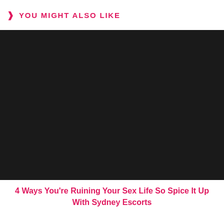YOU MIGHT ALSO LIKE
[Figure (photo): Dark/black image placeholder]
4 Ways You're Ruining Your Sex Life So Spice It Up With Sydney Escorts